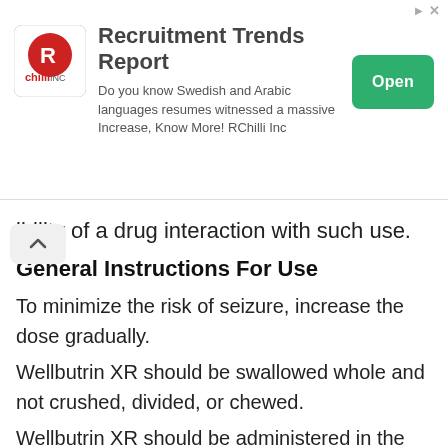[Figure (other): Advertisement banner for RChilli Recruitment Trends Report with logo, description text, and Open button]
ibility of a drug interaction with such use.
General Instructions For Use
To minimize the risk of seizure, increase the dose gradually.
Wellbutrin XR should be swallowed whole and not crushed, divided, or chewed.
Wellbutrin XR should be administered in the morning and may be taken with or without food.
Dosage For Major Depressive Disorder (MDD)
The recommended starting dose for MDD is 150 mg once daily in the morning. After 4 days of dosing, the dose may be increased to the target dose of 300 mg once daily in the morning.